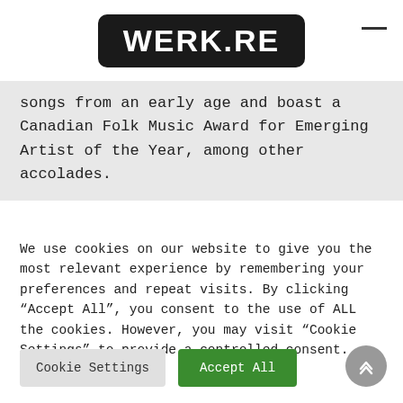WERK.RE
songs from an early age and boast a Canadian Folk Music Award for Emerging Artist of the Year, among other accolades.
We use cookies on our website to give you the most relevant experience by remembering your preferences and repeat visits. By clicking “Accept All”, you consent to the use of ALL the cookies. However, you may visit “Cookie Settings” to provide a controlled consent.
Cookie Settings | Accept All